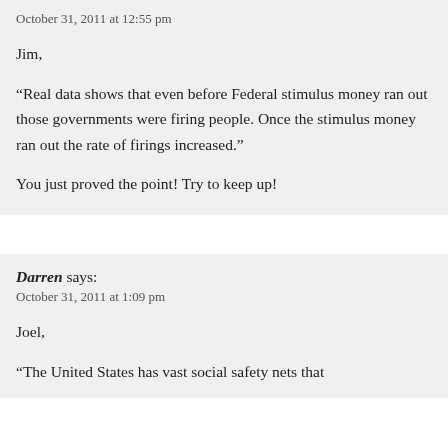October 31, 2011 at 12:55 pm
Jim,
“Real data shows that even before Federal stimulus money ran out those governments were firing people. Once the stimulus money ran out the rate of firings increased.”
You just proved the point! Try to keep up!
Darren says:
October 31, 2011 at 1:09 pm
Joel,
“The United States has vast social safety nets that